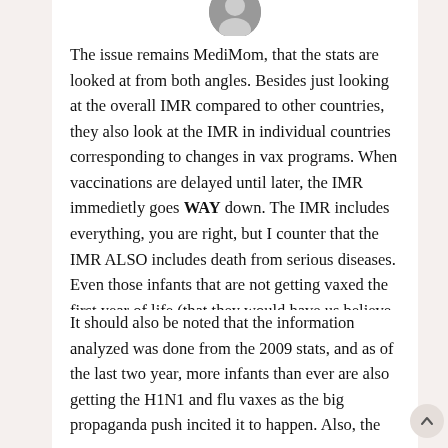[Figure (photo): Circular avatar photo of a person, partially visible at the top of the page]
The issue remains MediMom, that the stats are looked at from both angles. Besides just looking at the overall IMR compared to other countries, they also look at the IMR in individual countries corresponding to changes in vax programs. When vaccinations are delayed until later, the IMR immedietly goes WAY down. The IMR includes everything, you are right, but I counter that the IMR ALSO includes death from serious diseases. Even those infants that are not getting vaxed the first year of life (that they would have us believe are SOOOO at risk from these diseases) are included in the stats as are children with cancer and transplants. So, actually, vaxing prior to one year old is the real loaded gun.
It should also be noted that the information analyzed was done from the 2009 stats, and as of the last two year, more infants than ever are also getting the H1N1 and flu vaxes as the big propaganda push incited it to happen. Also, the current IMR puts us at 46 now... which is far worse.